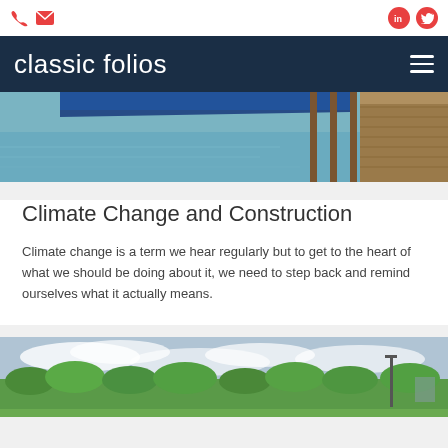classic folios
[Figure (photo): Photo of a waterfront dock scene with wooden poles and moored boat over calm water]
Climate Change and Construction
Climate change is a term we hear regularly but to get to the heart of what we should be doing about it, we need to step back and remind ourselves what it actually means.
[Figure (photo): Photo of trees and green park landscape with cloudy sky in the background]